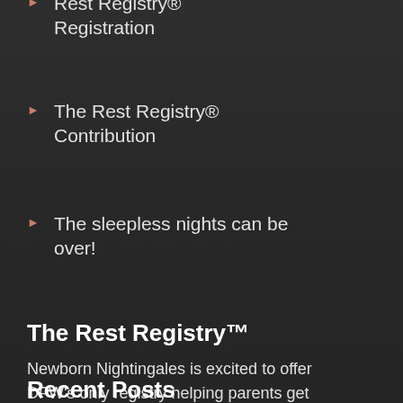Rest Registry® Registration
The Rest Registry® Contribution
The sleepless nights can be over!
The Rest Registry™
Newborn Nightingales is excited to offer DFW's only registry helping parents get the much-needed sleep they need and deserve.
learn more...
Recent Posts